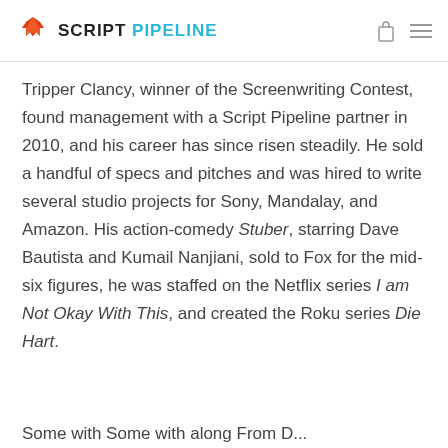SCRIPT PIPELINE
Tripper Clancy, winner of the Screenwriting Contest, found management with a Script Pipeline partner in 2010, and his career has since risen steadily. He sold a handful of specs and pitches and was hired to write several studio projects for Sony, Mandalay, and Amazon. His action-comedy Stuber, starring Dave Bautista and Kumail Nanjiani, sold to Fox for the mid-six figures, he was staffed on the Netflix series I am Not Okay With This, and created the Roku series Die Hart.
Some with Some with along From D...